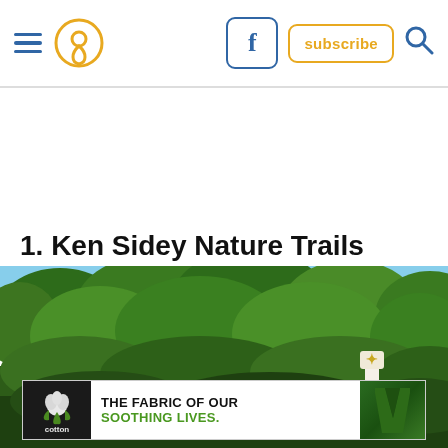Navigation header with hamburger menu, location icon, Facebook button, subscribe button, search icon
1. Ken Sidey Nature Trails
[Figure (photo): Outdoor nature trails photo showing dense green trees against a blue sky, with a yellow marker post visible on the right side]
[Figure (other): Cotton advertisement: THE FABRIC OF OUR SOOTHING LIVES. with cotton logo on dark background and green shorts image]